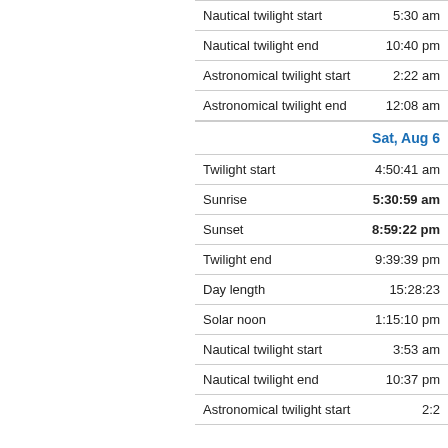| Event | Time |
| --- | --- |
| Nautical twilight start | 5:30 am |
| Nautical twilight end | 10:40 pm |
| Astronomical twilight start | 2:22 am |
| Astronomical twilight end | 12:08 am |
| Sat, Aug 6 |  |
| Twilight start | 4:50:41 am |
| Sunrise | 5:30:59 am |
| Sunset | 8:59:22 pm |
| Twilight end | 9:39:39 pm |
| Day length | 15:28:23 |
| Solar noon | 1:15:10 pm |
| Nautical twilight start | 3:53 am |
| Nautical twilight end | 10:37 pm |
| Astronomical twilight start | 2:2? |